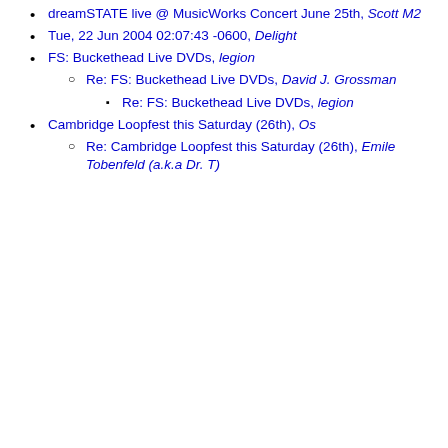Math, Lance Zechinato
Looper Spotted in San Diego, Gary Lehmann
Looping & Propellerheads (the band), Lance Zechinato
dreamSTATE live @ MusicWorks Concert June 25th, Scott M2
Tue, 22 Jun 2004 02:07:43 -0600, Delight
FS: Buckethead Live DVDs, legion
Re: FS: Buckethead Live DVDs, David J. Grossman
Re: FS: Buckethead Live DVDs, legion
Cambridge Loopfest this Saturday (26th), Os
Re: Cambridge Loopfest this Saturday (26th), Emile Tobenfeld (a.k.a Dr. T)